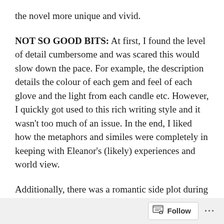the novel more unique and vivid.
NOT SO GOOD BITS: At first, I found the level of detail cumbersome and was scared this would slow down the pace. For example, the description details the colour of each gem and feel of each glove and the light from each candle etc. However, I quickly got used to this rich writing style and it wasn't too much of an issue. In the end, I liked how the metaphors and similes were completely in keeping with Eleanor's (likely) experiences and world view.
Additionally, there was a romantic side plot during the pilgrimage that I didn't find 100% convincing. The author explains the historical details behind this in her note, and admits its complete fiction as there isn't much evidence
Follow ...